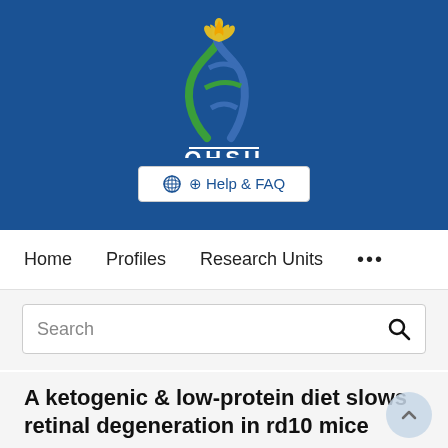[Figure (logo): OHSU logo with DNA helix and flame in blue, green, and yellow/gold colors on dark blue background, with white OHSU text below]
[Figure (other): Help & FAQ button with globe icon on white background]
Home   Profiles   Research Units   ...
Search
A ketogenic & low-protein diet slows retinal degeneration in rd10 mice